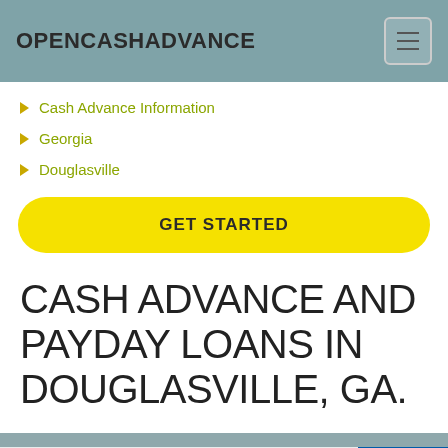OPENCASHADVANCE
Cash Advance Information
Georgia
Douglasville
GET STARTED
CASH ADVANCE AND PAYDAY LOANS IN DOUGLASVILLE, GA.
Request a Loan Today*
[Figure (logo): TrustedSite CERTIFIED SECURE badge]